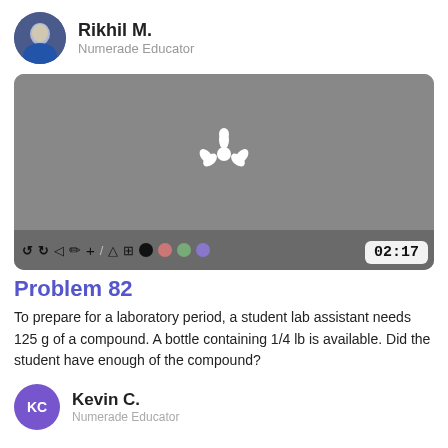[Figure (photo): Circular avatar photo of Rikhil M., a Numerade Educator, showing a man in a blue jacket]
Rikhil M.
Numerade Educator
[Figure (screenshot): Video player screenshot with gray background, Numerade spinner logo in center, toolbar with undo/redo and drawing tools at bottom, timer showing 02:17]
Problem 82
To prepare for a laboratory period, a student lab assistant needs 125 g of a compound. A bottle containing 1/4 lb is available. Did the student have enough of the compound?
[Figure (photo): Circular avatar with initials KC in purple for Kevin C., Numerade Educator]
Kevin C.
Numerade Educator